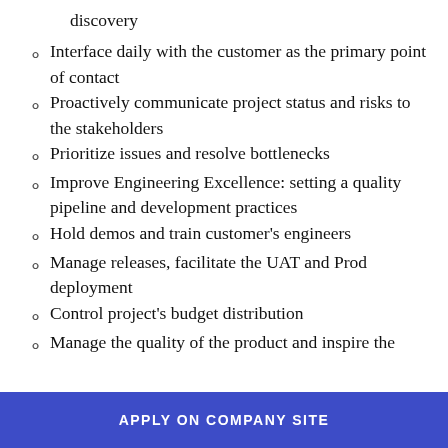discovery
Interface daily with the customer as the primary point of contact
Proactively communicate project status and risks to the stakeholders
Prioritize issues and resolve bottlenecks
Improve Engineering Excellence: setting a quality pipeline and development practices
Hold demos and train customer's engineers
Manage releases, facilitate the UAT and Prod deployment
Control project's budget distribution
Manage the quality of the product and inspire the